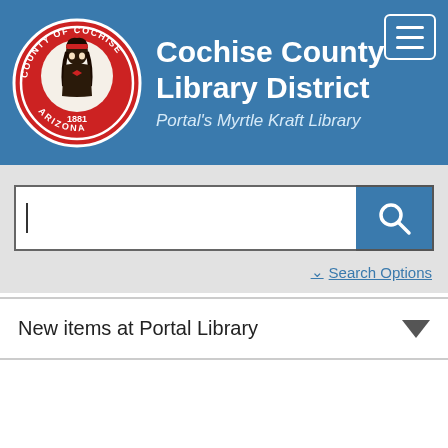Cochise County Library District — Portal's Myrtle Kraft Library
[Figure (logo): Cochise County seal — circular red badge with a Native American figure, text 'COUNTY OF COCHISE', '1881', 'ARIZONA']
Cochise County Library District
Portal's Myrtle Kraft Library
Search input field
Search Options